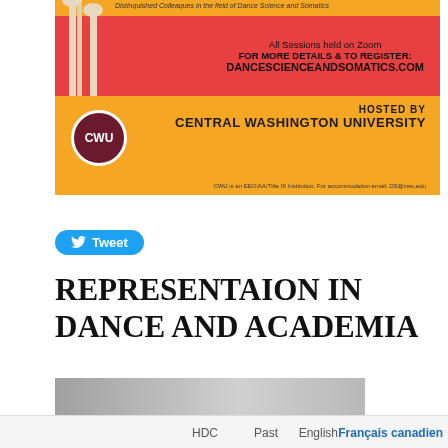[Figure (infographic): Conference banner for Dance Science and Somatics event hosted by Central Washington University. Orange and red background with skeleton leg imagery. Text: 'All Sessions held on Zoom / FOR MORE DETAILS & TO REGISTER: / DANCESCIENCEANDSOMATICS.COM / HOSTED BY CENTRAL WASHINGTON UNIVERSITY / CWU is an EEO/AA/Title IX Institution. For accommodation email: DS@cwu.edu']
Tweet
REPRESENTAION IN DANCE AND ACADEMIA
2/22/2021
0 Comments
HDC  Past  English  Français canadien